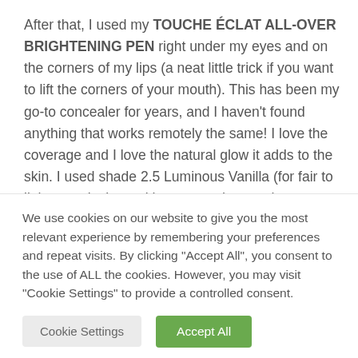After that, I used my TOUCHE ÉCLAT ALL-OVER BRIGHTENING PEN right under my eyes and on the corners of my lips (a neat little trick if you want to lift the corners of your mouth). This has been my go-to concealer for years, and I haven't found anything that works remotely the same! I love the coverage and I love the natural glow it adds to the skin. I used shade 2.5 Luminous Vanilla (for fair to light complexions with warm undertones).
We use cookies on our website to give you the most relevant experience by remembering your preferences and repeat visits. By clicking "Accept All", you consent to the use of ALL the cookies. However, you may visit "Cookie Settings" to provide a controlled consent.